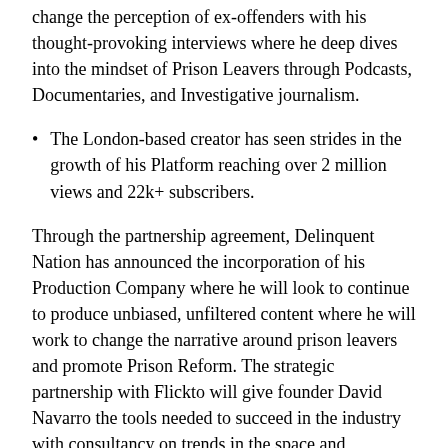change the perception of ex-offenders with his thought-provoking interviews where he deep dives into the mindset of Prison Leavers through Podcasts, Documentaries, and Investigative journalism.
The London-based creator has seen strides in the growth of his Platform reaching over 2 million views and 22k+ subscribers.
Through the partnership agreement, Delinquent Nation has announced the incorporation of his Production Company where he will look to continue to produce unbiased, unfiltered content where he will work to change the narrative around prison leavers and promote Prison Reform. The strategic partnership with Flickto will give founder David Navarro the tools needed to succeed in the industry with consultancy on trends in the space and assistance with marketing efforts to expand Delinquent Nation. Flickto are the place to...